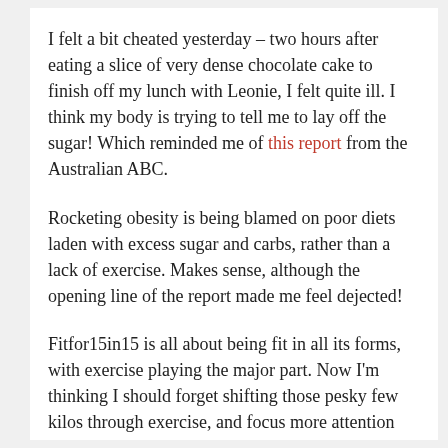I felt a bit cheated yesterday – two hours after eating a slice of very dense chocolate cake to finish off my lunch with Leonie, I felt quite ill. I think my body is trying to tell me to lay off the sugar! Which reminded me of this report from the Australian ABC.
Rocketing obesity is being blamed on poor diets laden with excess sugar and carbs, rather than a lack of exercise. Makes sense, although the opening line of the report made me feel dejected!
Fitfor15in15 is all about being fit in all its forms, with exercise playing the major part. Now I'm thinking I should forget shifting those pesky few kilos through exercise, and focus more attention on the role of healthier food.
Just writing it out makes me feel a bit silly, because it seems so obvious. Of course, moving everyday is beneficial for my overall health, like heart and bones, and I would never stop that. But is it time to totally cut out the crap from my diet? Could I live without chocolate cake and Berliners? Maybe, but